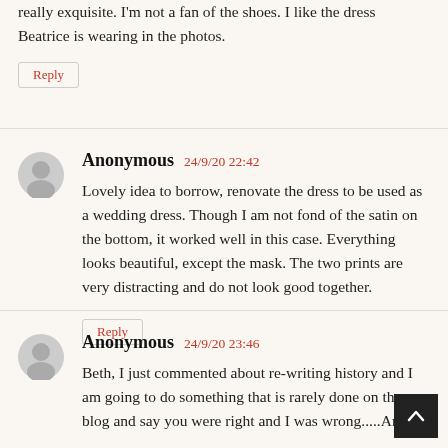really exquisite. I'm not a fan of the shoes. I like the dress Beatrice is wearing in the photos.
Reply
Anonymous  24/9/20 22:42
Lovely idea to borrow, renovate the dress to be used as a wedding dress. Though I am not fond of the satin on the bottom, it worked well in this case. Everything looks beautiful, except the mask. The two prints are very distracting and do not look good together.
Reply
Anonymous  24/9/20 23:46
Beth, I just commented about re-writing history and I am going to do something that is rarely done on the blog and say you were right and I was wrong.....Anon